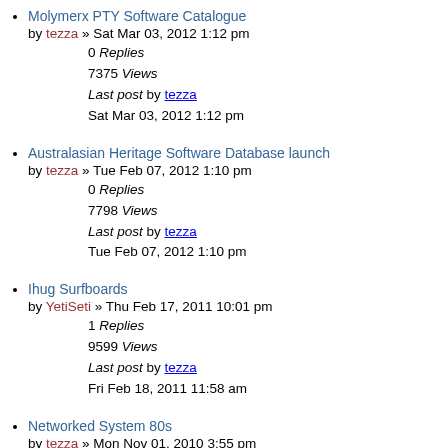Molymerx PTY Software Catalogue
by tezza » Sat Mar 03, 2012 1:12 pm
0 Replies
7375 Views
Last post by tezza
Sat Mar 03, 2012 1:12 pm
Australasian Heritage Software Database launch
by tezza » Tue Feb 07, 2012 1:10 pm
0 Replies
7798 Views
Last post by tezza
Tue Feb 07, 2012 1:10 pm
Ihug Surfboards
by YetiSeti » Thu Feb 17, 2011 10:01 pm
1 Replies
9599 Views
Last post by tezza
Fri Feb 18, 2011 11:58 am
Networked System 80s
by tezza » Mon Nov 01, 2010 3:55 pm
0 Replies
8242 Views
Last post by tezza
Mon Nov 01, 2010 3:55 pm
PS/2 Musings